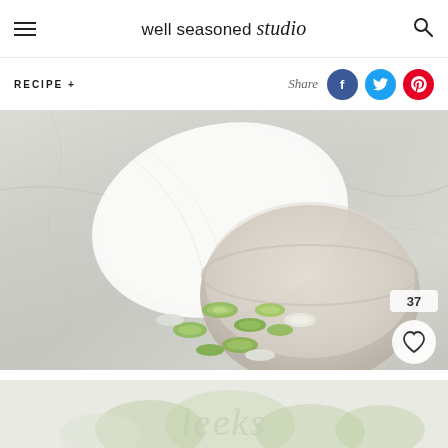well seasoned studio
RECIPE +
Share
[Figure (photo): Overhead view of chopped leeks in a ceramic bowl on marble surface, with a paper towel partially covering the bowl]
[Figure (photo): Bottom strip showing partial view of leeks out of focus]